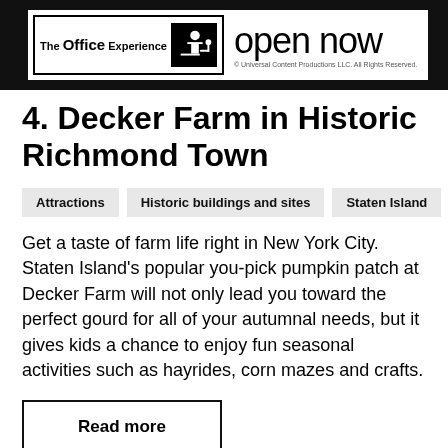[Figure (other): Advertisement banner for 'The Office Experience' with 'open now' text and copyright notice from Universal Content Productions LLC.]
4. Decker Farm in Historic Richmond Town
Attractions
Historic buildings and sites
Staten Island
Get a taste of farm life right in New York City. Staten Island's popular you-pick pumpkin patch at Decker Farm will not only lead you toward the perfect gourd for all of your autumnal needs, but it gives kids a chance to enjoy fun seasonal activities such as hayrides, corn mazes and crafts.
Read more